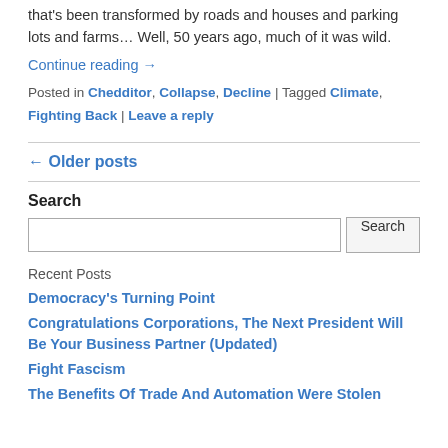that's been transformed by roads and houses and parking lots and farms… Well, 50 years ago, much of it was wild.
Continue reading →
Posted in Chedditor, Collapse, Decline | Tagged Climate, Fighting Back | Leave a reply
← Older posts
Search
Recent Posts
Democracy's Turning Point
Congratulations Corporations, The Next President Will Be Your Business Partner (Updated)
Fight Fascism
The Benefits Of Trade And Automation Were Stolen